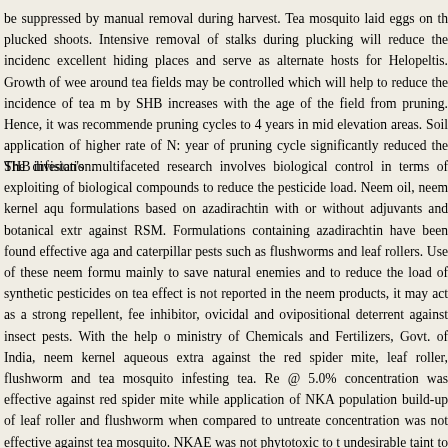be suppressed by manual removal during harvest. Tea mosquito laid eggs on the plucked shoots. Intensive removal of stalks during plucking will reduce the incidence. excellent hiding places and serve as alternate hosts for Helopeltis. Growth of weeds around tea fields may be controlled which will help to reduce the incidence of tea mosquito by SHB increases with the age of the field from pruning. Hence, it was recommended pruning cycles to 4 years in mid elevation areas. Soil application of higher rate of N: year of pruning cycle significantly reduced the SHB infestation.
The division's multifaceted research involves biological control in terms of exploiting of biological compounds to reduce the pesticide load. Neem oil, neem kernel aqueous formulations based on azadirachtin with or without adjuvants and botanical extracts against RSM. Formulations containing azadirachtin have been found effective against and caterpillar pests such as flushworms and leaf rollers. Use of these neem formulations mainly to save natural enemies and to reduce the load of synthetic pesticides on tea. effect is not reported in the neem products, it may act as a strong repellent, feeding inhibitor, ovicidal and ovipositional deterrent against insect pests. With the help of ministry of Chemicals and Fertilizers, Govt. of India, neem kernel aqueous extract against the red spider mite, leaf roller, flushworm and tea mosquito infesting tea. Re @ 5.0% concentration was effective against red spider mite while application of NKAE population build-up of leaf roller and flushworm when compared to untreated concentration was not effective against tea mosquito. NKAE was not phytotoxic to tea undesirable taint to made tea.